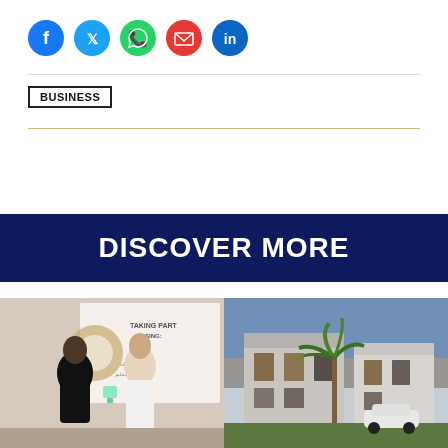[Figure (infographic): Row of 5 social media share icons: Facebook (blue), Twitter (light blue), WhatsApp (green), Email (red), LinkedIn (blue)]
BUSINESS
DISCOVER MORE
[Figure (photo): Two women at an award ceremony, one in black abaya, one in white top, holding an award. Banner in background reads 'TAKING PART SING: FULL' and Arabic text.]
[Figure (photo): Modern residential villas or townhouses with a palm tree in the foreground, evening/dusk lighting.]